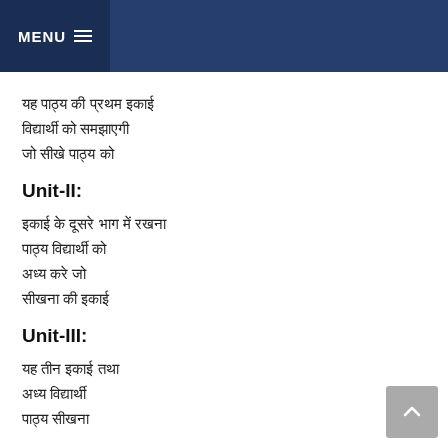MENU
[Hindi text lines - Unit I content]
Unit-II:
[Hindi text lines - Unit II content]
Unit-III:
[Hindi text lines - Unit III content]